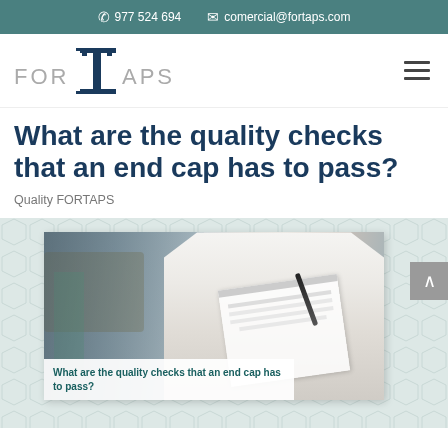✆ 977 524 694   ✉ comercial@fortaps.com
[Figure (logo): FORTAPS company logo with stylized T shape in dark navy]
What are the quality checks that an end cap has to pass?
Quality FORTAPS
[Figure (photo): Person in white lab coat holding a clipboard with pen, in an industrial/factory setting. Image card with hexagon pattern background. Caption overlay reads: What are the quality checks that an end cap has to pass?]
What are the quality checks that an end cap has to pass?